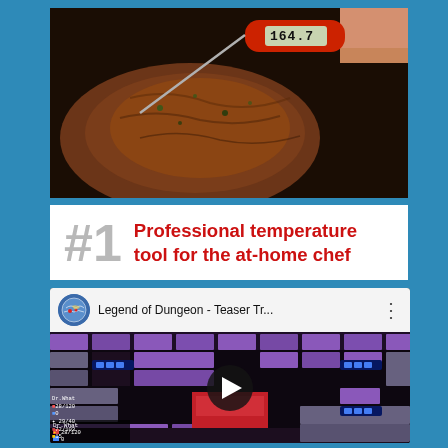[Figure (photo): Close-up photo of a meat thermometer with red handle showing temperature reading of 164.7 degrees being inserted into a roasted meat, hand visible holding the thermometer]
#1 Professional temperature tool for the at-home chef
[Figure (screenshot): YouTube video thumbnail showing 'Legend of Dungeon - Teaser Tr...' with channel icon, three-dot menu, and dungeon game scene with pixel art dungeon layout, purple lighting, play button overlay, and HUD showing Dr.What with stats: 28/120 health, 0 mana, 29/40, 72/103, 15]